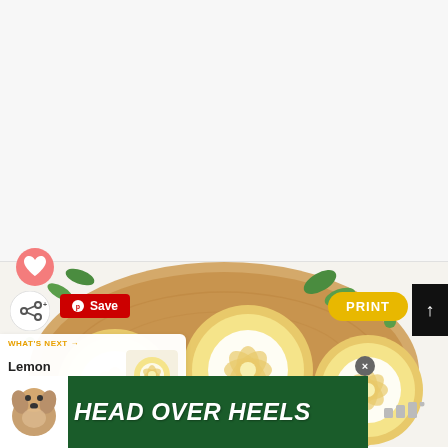[Figure (screenshot): Screenshot of a recipe/crafts website showing lemon-shaped cookies on a wooden board. The UI includes a Pinterest-style Save button, a Print button, a What's Next panel showing 'Lemon Shaped...' content, a heart/like button, a share button, and an advertisement banner at the bottom reading 'HEAD OVER HEELS' with a dog image on a dark green background. A watermark logo appears in the top right and bottom right.]